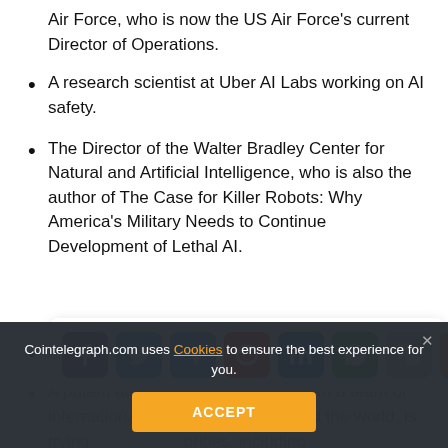Air Force, who is now the US Air Force's current Director of Operations.
A research scientist at Uber AI Labs working on AI safety.
The Director of the Walter Bradley Center for Natural and Artificial Intelligence, who is also the author of The Case for Killer Robots: Why America's Military Needs to Continue Development of Lethal AI.
made two inventions of its own.
A patent attorney, who is working with a team of international p[...]m around the world, is trying [...] orities, including